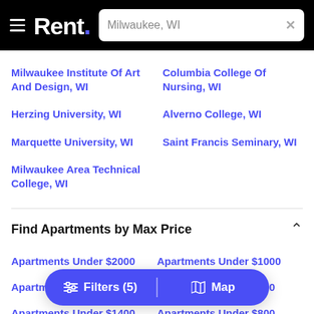Rent. — Milwaukee, WI search bar
Milwaukee Institute Of Art And Design, WI
Columbia College Of Nursing, WI
Herzing University, WI
Alverno College, WI
Marquette University, WI
Saint Francis Seminary, WI
Milwaukee Area Technical College, WI
Find Apartments by Max Price
Apartments Under $2000
Apartments Under $1000
Apartments Under $1500
Apartments Under $900
Apartments Under $1400
Apartments Under $800